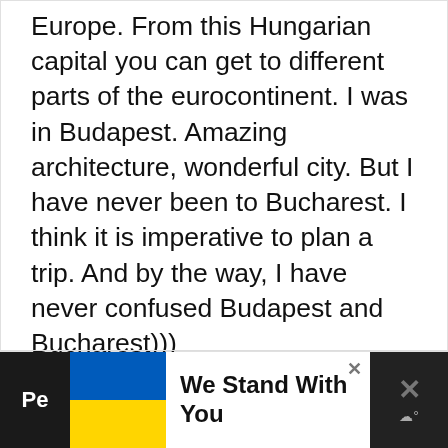Europe. From this Hungarian capital you can get to different parts of the eurocontinent. I was in Budapest. Amazing architecture, wonderful city. But I have never been to Bucharest. I think it is imperative to plan a trip. And by the way, I have never confused Budapest and Bucharest)))
Reply
[Figure (other): Teal circular button with white heart icon and grey circular share button with share icon]
[Figure (other): Advertisement banner: dark left strip with 'Pe' text, Ukrainian flag image, white center with bold text 'We Stand With You', close button, and dark right block with X and weather icon]